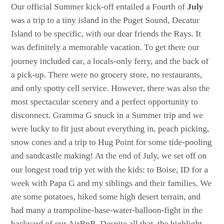Our official Summer kick-off entailed a Fourth of July was a trip to a tiny island in the Puget Sound, Decatur Island to be specific, with our dear friends the Rays. It was definitely a memorable vacation. To get there our journey included car, a locals-only ferry, and the back of a pick-up. There were no grocery store, no restaurants, and only spotty cell service. However, there was also the most spectacular scenery and a perfect opportunity to disconnect. Gramma G snuck in a Summer trip and we were lucky to fit just about everything in, peach picking, snow cones and a trip to Hug Point for some tide-pooling and sandcastle making! At the end of July, we set off on our longest road trip yet with the kids: to Boise, ID for a week with Papa G and my siblings and their families. We ate some potatoes, hiked some high desert terrain, and had many a trampoline-base-water-balloon-fight in the backyard of our AirBnB. Despite all that, the highlight for me was finding out that I'm going to be an Auntie (again!). My youngest sister Emily and her husband Holden are expecting their first sweet baby this Winter! August. After a quick turn around at home, we set off to meet up with Mamaw and the Rakowska family for a week in Nederland, Colorado. Amidst a pile of cousins, we enjoyed